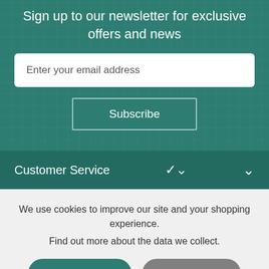Sign up to our newsletter for exclusive offers and news
Enter your email address
Subscribe
Customer Service
We use cookies to improve our site and your shopping experience. Find out more about the data we collect.
Accept & Close
Find Out More